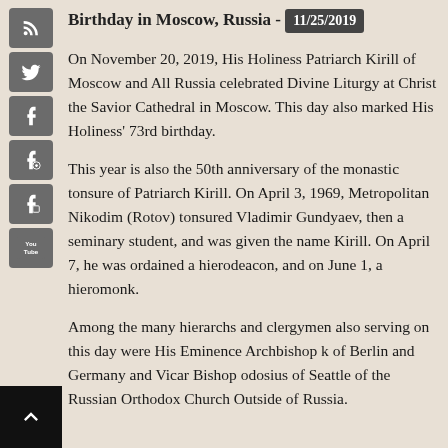Birthday in Moscow, Russia - 11/25/2019
On November 20, 2019, His Holiness Patriarch Kirill of Moscow and All Russia celebrated Divine Liturgy at Christ the Savior Cathedral in Moscow. This day also marked His Holiness' 73rd birthday.
This year is also the 50th anniversary of the monastic tonsure of Patriarch Kirill. On April 3, 1969, Metropolitan Nikodim (Rotov) tonsured Vladimir Gundyaev, then a seminary student, and was given the name Kirill. On April 7, he was ordained a hierodeacon, and on June 1, a hieromonk.
Among the many hierarchs and clergymen also serving on this day were His Eminence Archbishop k of Berlin and Germany and Vicar Bishop odosius of Seattle of the Russian Orthodox Church Outside of Russia.